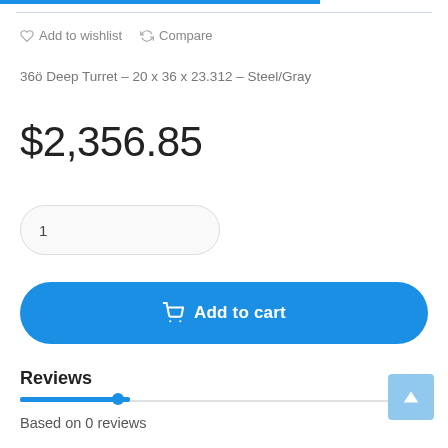Add to wishlist  Compare
36ö Deep Turret – 20 x 36 x 23.312 – Steel/Gray
$2,356.85
1
Add to cart
Reviews
Based on 0 reviews